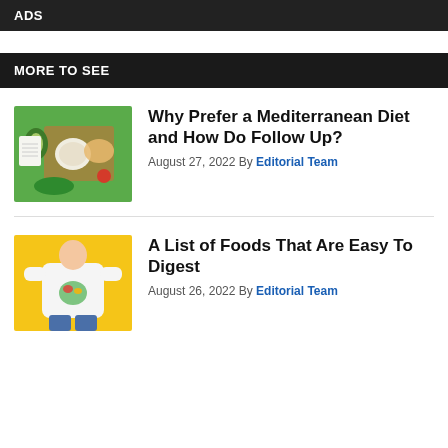ADS
MORE TO SEE
[Figure (photo): Mediterranean diet food photo — overhead view of vegetables, grains, avocado, chicken, and a notepad on a green background]
Why Prefer a Mediterranean Diet and How Do Follow Up?
August 27, 2022 By Editorial Team
[Figure (photo): Person wearing a white t-shirt with a salad graphic on a yellow background]
A List of Foods That Are Easy To Digest
August 26, 2022 By Editorial Team